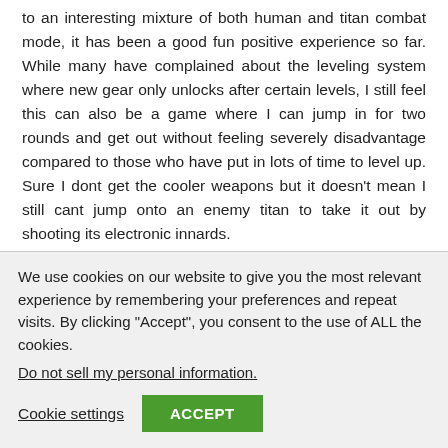to an interesting mixture of both human and titan combat mode, it has been a good fun positive experience so far. While many have complained about the leveling system where new gear only unlocks after certain levels, I still feel this can also be a game where I can jump in for two rounds and get out without feeling severely disadvantage compared to those who have put in lots of time to level up. Sure I dont get the cooler weapons but it doesn't mean I still cant jump onto an enemy titan to take it out by shooting its electronic innards.
A game to recommend for anyone who likes mecha and first person shooter. Electronic Arts and Respawn Entertainment definitely have a
We use cookies on our website to give you the most relevant experience by remembering your preferences and repeat visits. By clicking "Accept", you consent to the use of ALL the cookies.
Do not sell my personal information.
Cookie settings
ACCEPT